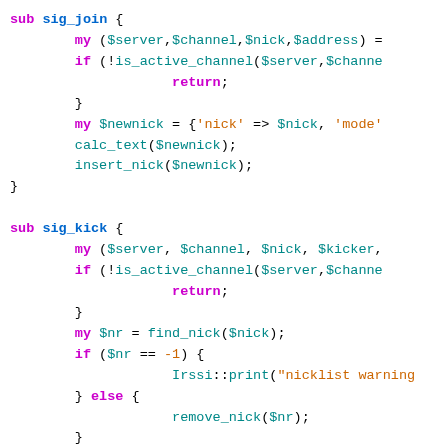sub sig_join {
    my ($server,$channel,$nick,$address) =
    if (!is_active_channel($server,$channe
            return;
    }
    my $newnick = {'nick' => $nick, 'mode'
    calc_text($newnick);
    insert_nick($newnick);
}

sub sig_kick {
    my ($server, $channel, $nick, $kicker,
    if (!is_active_channel($server,$channe
            return;
    }
    my $nr = find_nick($nick);
    if ($nr == -1) {
            Irssi::print("nicklist warning
    } else {
            remove_nick($nr);
    }
}

sub sig_part {
    ($s...,$channel,$nick,$addr...